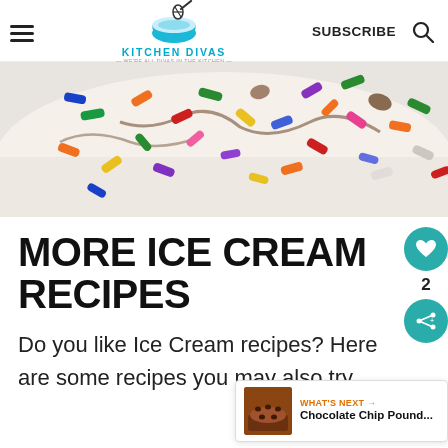KITCHEN DIVAS — WE'RE ALL DIVAS IN THE KITCHEN — | SUBSCRIBE
[Figure (photo): Close-up photo of colorful candy sprinkles on white ice cream]
MORE ICE CREAM RECIPES
Do you like Ice Cream recipes? Here are some recipes you may also try